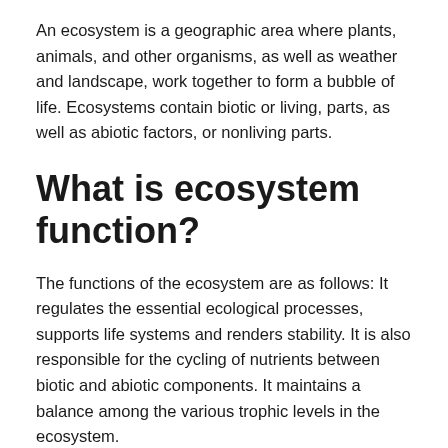An ecosystem is a geographic area where plants, animals, and other organisms, as well as weather and landscape, work together to form a bubble of life. Ecosystems contain biotic or living, parts, as well as abiotic factors, or nonliving parts.
What is ecosystem function?
The functions of the ecosystem are as follows: It regulates the essential ecological processes, supports life systems and renders stability. It is also responsible for the cycling of nutrients between biotic and abiotic components. It maintains a balance among the various trophic levels in the ecosystem.